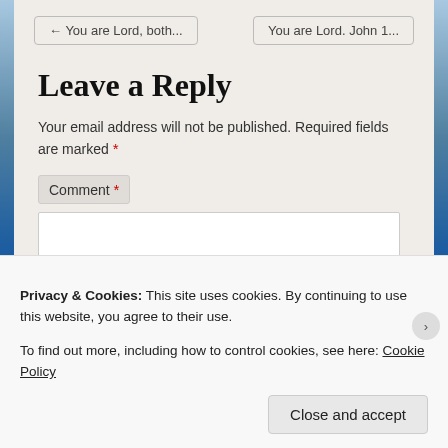← You are Lord, both...
You are Lord. John 1...
Leave a Reply
Your email address will not be published. Required fields are marked *
Comment *
Privacy & Cookies: This site uses cookies. By continuing to use this website, you agree to their use.
To find out more, including how to control cookies, see here: Cookie Policy
Close and accept